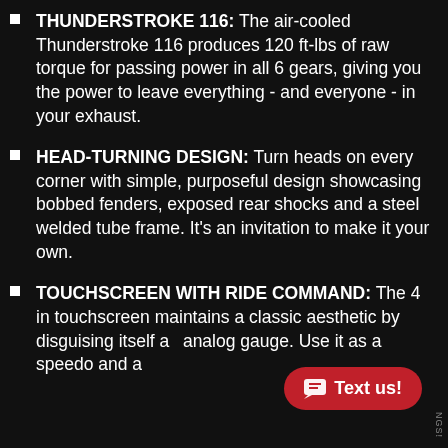THUNDERSTROKE 116: The air-cooled Thunderstroke 116 produces 120 ft-lbs of raw torque for passing power in all 6 gears, giving you the power to leave everything - and everyone - in your exhaust.
HEAD-TURNING DESIGN: Turn heads on every corner with simple, purposeful design showcasing bobbed fenders, exposed rear shocks and a steel welded tube frame. It's an invitation to make it your own.
TOUCHSCREEN WITH RIDE COMMAND: The 4 in touchscreen maintains a classic aesthetic by disguising itself as an analog gauge. Use it as a speedo and a